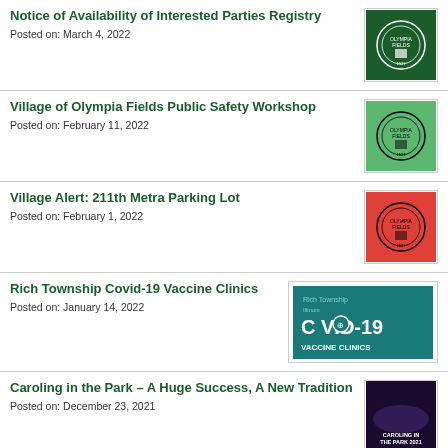Notice of Availability of Interested Parties Registry
Posted on: March 4, 2022
[Figure (logo): Olympia Fields village seal on dark green background]
Village of Olympia Fields Public Safety Workshop
Posted on: February 11, 2022
[Figure (logo): Olympia Fields village seal on light green background]
Village Alert: 211th Metra Parking Lot
Posted on: February 1, 2022
[Figure (logo): Olympia Fields village seal on red background]
Rich Township Covid-19 Vaccine Clinics
Posted on: January 14, 2022
[Figure (logo): Rich Township Covid-19 Vaccine Clinics banner with teal background]
Caroling in the Park – A Huge Success, A New Tradition
Posted on: December 23, 2021
[Figure (photo): Caroling in the Park 2021 event photo with dark background]
Christmas Carol in the Park